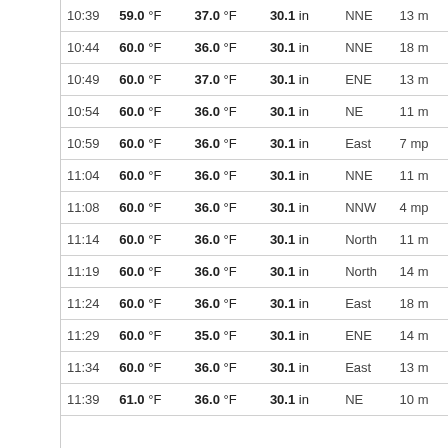| Time | Temp | Dew Point | Pressure | Wind Dir | Wind Speed |
| --- | --- | --- | --- | --- | --- |
| 10:39 | 59.0 °F | 37.0 °F | 30.1 in | NNE | 13 m... |
| 10:44 | 60.0 °F | 36.0 °F | 30.1 in | NNE | 18 m... |
| 10:49 | 60.0 °F | 37.0 °F | 30.1 in | ENE | 13 m... |
| 10:54 | 60.0 °F | 36.0 °F | 30.1 in | NE | 11 m... |
| 10:59 | 60.0 °F | 36.0 °F | 30.1 in | East | 7 mp... |
| 11:04 | 60.0 °F | 36.0 °F | 30.1 in | NNE | 11 m... |
| 11:08 | 60.0 °F | 36.0 °F | 30.1 in | NNW | 4 mp... |
| 11:14 | 60.0 °F | 36.0 °F | 30.1 in | North | 11 m... |
| 11:19 | 60.0 °F | 36.0 °F | 30.1 in | North | 14 m... |
| 11:24 | 60.0 °F | 36.0 °F | 30.1 in | East | 18 m... |
| 11:29 | 60.0 °F | 35.0 °F | 30.1 in | ENE | 14 m... |
| 11:34 | 60.0 °F | 36.0 °F | 30.1 in | East | 13 m... |
| 11:39 | 61.0 °F | 36.0 °F | 30.1 in | NE | 10 m... |